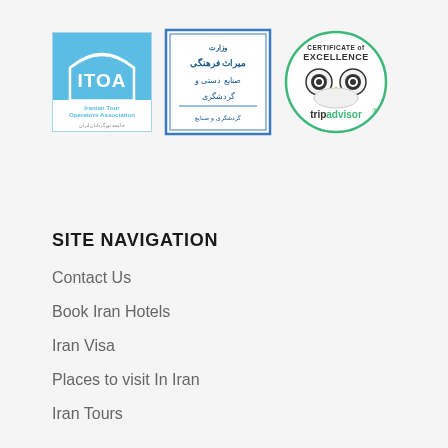[Figure (logo): ITOA Iranian Tour Operators Association logo - blue square with house/arch shape]
[Figure (logo): Ministry of Cultural Heritage, Handicrafts and Tourism Iran - official stamp logo with Persian text]
[Figure (logo): TripAdvisor Certificate of Excellence logo - circular green border with owl and TripAdvisor branding]
SITE NAVIGATION
Contact Us
Book Iran Hotels
Iran Visa
Places to visit In Iran
Iran Tours